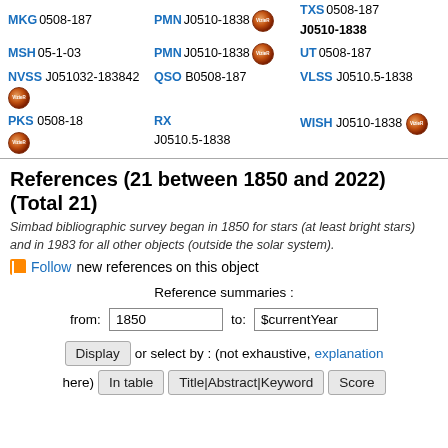MKG 0508-187 | PMN J0510-1838 [VizieR] | TXS 0508-187 | J0510-1838
MSH 05-1-03 | PMN J0510-1838 [VizieR] | UT 0508-187
NVSS J051032-183842 [VizieR] | QSO B0508-187 | VLSS J0510.5-1838
PKS 0508-18 [VizieR] | RX J0510.5-1838 | WISH J0510-1838 [VizieR]
References (21 between 1850 and 2022) (Total 21)
Simbad bibliographic survey began in 1850 for stars (at least bright stars) and in 1983 for all other objects (outside the solar system).
Follow new references on this object
Reference summaries :
from: 1850  to: $currentYear
Display or select by : (not exhaustive, explanation here)  In table  Title|Abstract|Keyword  Score